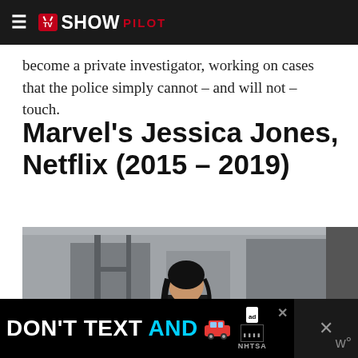TV SHOW PILOT
become a private investigator, working on cases that the police simply cannot – and will not – touch.
Marvel's Jessica Jones, Netflix (2015 – 2019)
[Figure (photo): Woman in black leather jacket stepping out of a yellow New York taxi cab on a city street, with a heart/like button and share button overlay on the left side]
DON'T TEXT AND [car emoji] — ad banner (NHTSA)